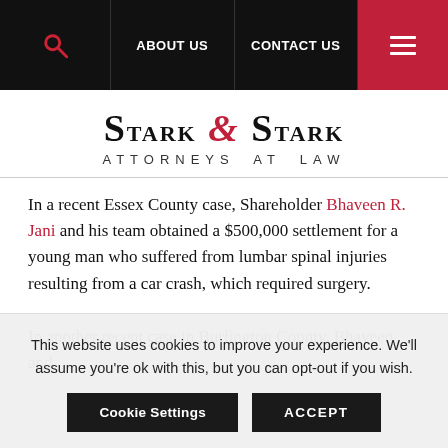ABOUT US | CONTACT US
[Figure (logo): Stark & Stark Attorneys at Law logo]
In a recent Essex County case, Shareholder Bhaveen R. Jani and his team obtained a $500,000 settlement for a young man who suffered from lumbar spinal injuries resulting from a car crash, which required surgery.

In another recent case in Burlington County, Bhaveen and
This website uses cookies to improve your experience. We'll assume you're ok with this, but you can opt-out if you wish.